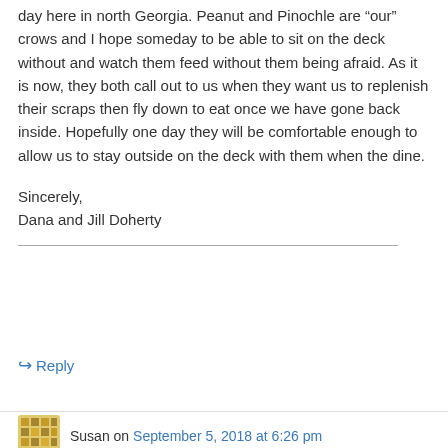day here in north Georgia. Peanut and Pinochle are “our” crows and I hope someday to be able to sit on the deck without and watch them feed without them being afraid. As it is now, they both call out to us when they want us to replenish their scraps then fly down to eat once we have gone back inside. Hopefully one day they will be comfortable enough to allow us to stay outside on the deck with them when the dine.
Sincerely,
Dana and Jill Doherty
↔ Reply
Susan on September 5, 2018 at 6:26 pm